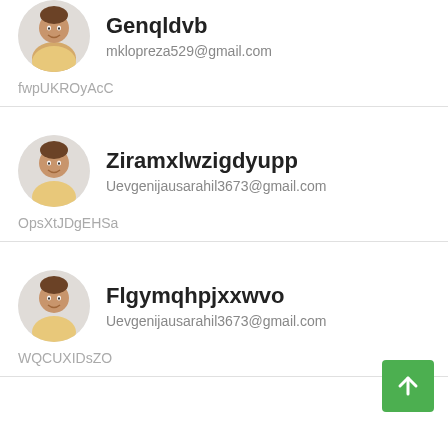[Figure (photo): Circular avatar photo of a man in a yellow shirt, partially cropped at top]
Genqldvb
mklopreza529@gmail.com
fwpUKROyAcC
[Figure (photo): Circular avatar photo of a man in a yellow shirt smiling]
Ziramxlwzigdyupp
Uevgenijausarahil3673@gmail.com
OpsXtJDgEHSa
[Figure (photo): Circular avatar photo of a man in a yellow shirt smiling]
Flgymqhpjxxwvo
Uevgenijausarahil3673@gmail.com
WQCUXIDsZO